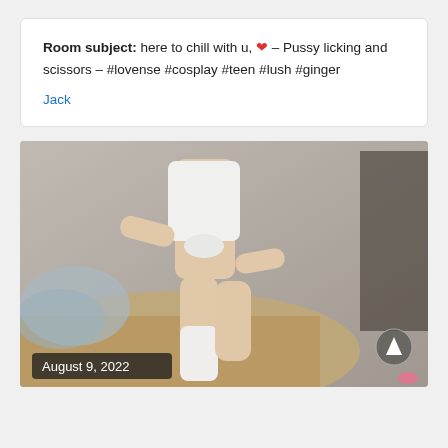Room subject: here to chill with u, ❤ – Pussy licking and scissors – #lovense #cosplay #teen #lush #ginger
Jack
[Figure (photo): A person sitting on a bed wearing a white tied top and white knee-high socks, with a date stamp 'August 9, 2022' on the lower left and an upvote arrow button on the lower right.]